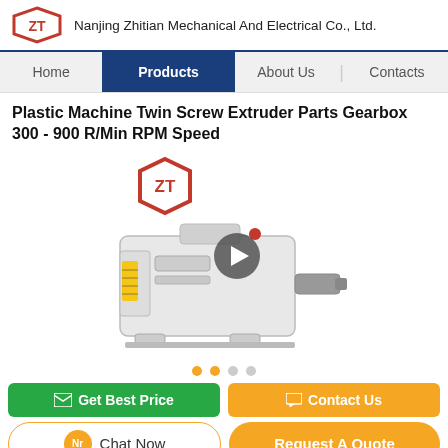Nanjing Zhitian Mechanical And Electrical Co., Ltd.
Plastic Machine Twin Screw Extruder Parts Gearbox 300 - 900 R/Min RPM Speed
[Figure (photo): White industrial gearbox/extruder unit with company logo (ZT hexagon badge) shown above, and a video play button overlay on the product image]
Get Best Price
Contact Us
Chat Now
Request A Quote